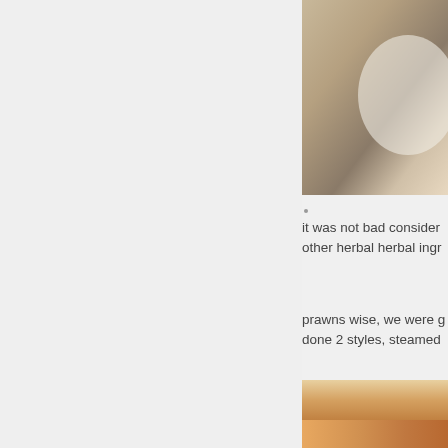[Figure (photo): Food photo showing what appears to be a dish on a plate, partially visible at the top right of the page]
it was not bad consider other herbal herbal ingr
prawns wise, we were done 2 styles, steamed
[Figure (photo): Photo of prawns on a white plate with a watermark label reading 'juneoesque?']